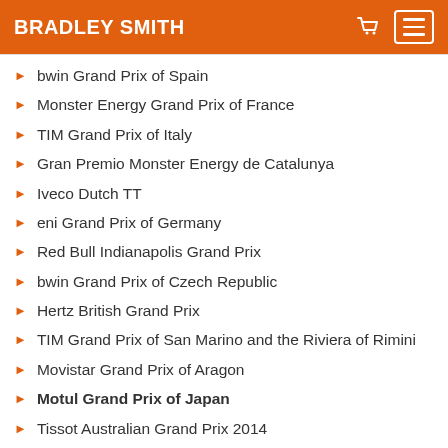BRADLEY SMITH
bwin Grand Prix of Spain
Monster Energy Grand Prix of France
TIM Grand Prix of Italy
Gran Premio Monster Energy de Catalunya
Iveco Dutch TT
eni Grand Prix of Germany
Red Bull Indianapolis Grand Prix
bwin Grand Prix of Czech Republic
Hertz British Grand Prix
TIM Grand Prix of San Marino and the Riviera of Rimini
Movistar Grand Prix of Aragon
Motul Grand Prix of Japan
Tissot Australian Grand Prix 2014
Shell Advance Malaysian Grand Prix
Grand Prix Generali De La Comunitat Valencia
RESULTS BY YEAR